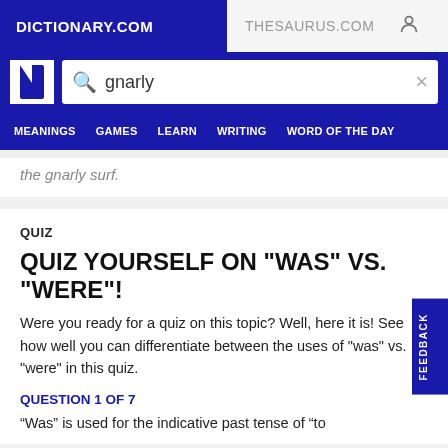DICTIONARY.COM | THESAURUS.COM
[Figure (screenshot): Dictionary.com search bar with 'gnarly' typed in]
MEANINGS  GAMES  LEARN  WRITING  WORD OF THE DAY
the gnarly surf.
QUIZ
QUIZ YOURSELF ON "WAS" VS. "WERE"!
Were you ready for a quiz on this topic? Well, here it is! See how well you can differentiate between the uses of "was" vs. "were" in this quiz.
QUESTION 1 OF 7
“Was” is used for the indicative past tense of “to